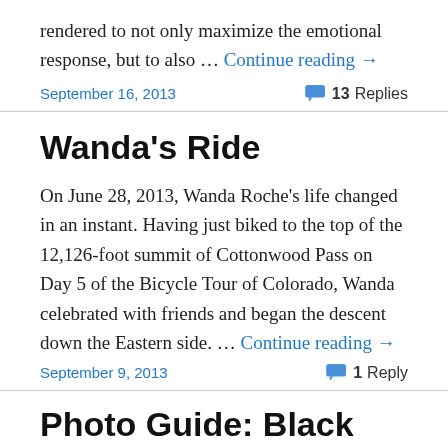rendered to not only maximize the emotional response, but to also … Continue reading →
September 16, 2013
13 Replies
Wanda's Ride
On June 28, 2013, Wanda Roche's life changed in an instant. Having just biked to the top of the 12,126-foot summit of Cottonwood Pass on Day 5 of the Bicycle Tour of Colorado, Wanda celebrated with friends and began the descent down the Eastern side. … Continue reading →
September 9, 2013
1 Reply
Photo Guide: Black Canyon of